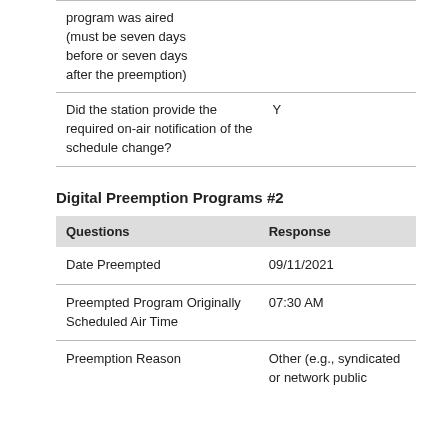| Questions | Response |
| --- | --- |
| program was aired (must be seven days before or seven days after the preemption) |  |
| Did the station provide the required on-air notification of the schedule change? | Y |
Digital Preemption Programs #2
| Questions | Response |
| --- | --- |
| Date Preempted | 09/11/2021 |
| Preempted Program Originally Scheduled Air Time | 07:30 AM |
| Preemption Reason | Other (e.g., syndicated or network public |